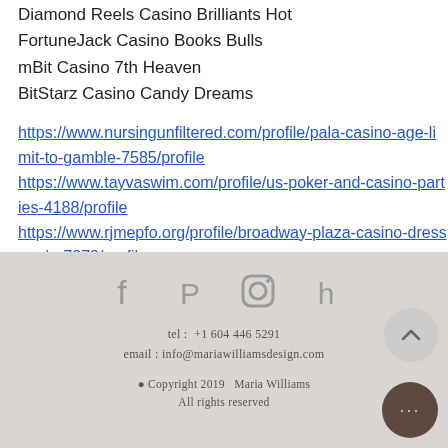Diamond Reels Casino Brilliants Hot
FortuneJack Casino Books Bulls
mBit Casino 7th Heaven
BitStarz Casino Candy Dreams
https://www.nursingunfiltered.com/profile/pala-casino-age-limit-to-gamble-7585/profile
https://www.tayvaswim.com/profile/us-poker-and-casino-parties-4188/profile
https://www.rjmepfo.org/profile/broadway-plaza-casino-dress-code-7278/profile
https://www.sortmybody.com/profile/tingkatan-kartu-dalam-texas-holdem-poker-147/profile
[Figure (other): Website footer with social media icons (Facebook, Pinterest, Instagram, Houzz), contact info (tel: +1 604 446 5291, email: info@mariawilliamsdesign.com), copyright notice (Copyright 2019 Maria Williams, All rights reserved), scroll-up button and more options button.]